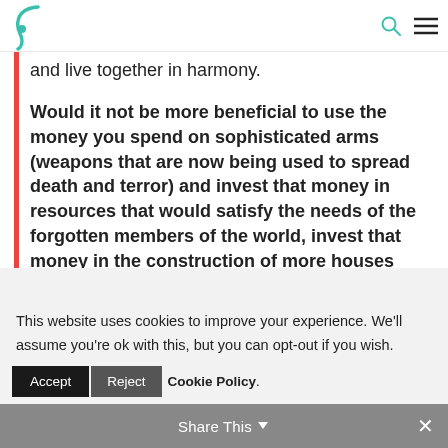and live together in harmony.
Would it not be more beneficial to use the money you spend on sophisticated arms (weapons that are now being used to spread death and terror) and invest that money in resources that would satisfy the needs of the forgotten members of the world, invest that money in the construction of more houses
This website uses cookies to improve your experience. We'll assume you're ok with this, but you can opt-out if you wish.
Accept  Reject  Cookie Policy  Share This  ×